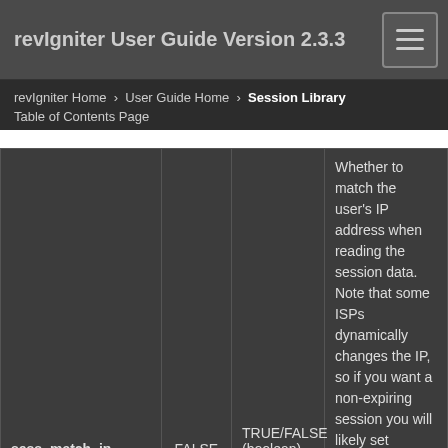revIgniter User Guide Version 2.3.3
revIgniter Home › User Guide Home › Session Library
Table of Contents Page
| Preference | Default Value | Options | Description |
| --- | --- | --- | --- |
| sess_match_ip | FALSE | TRUE/FALSE (boolean) | Whether to match the user's IP address when reading the session data. Note that some ISPs dynamically changes the IP, so if you want a non-expiring session you will likely set |